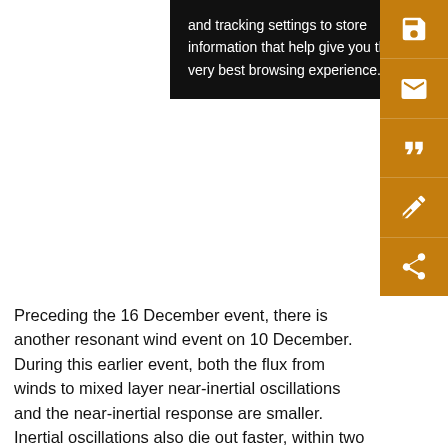[Figure (screenshot): Cookie consent overlay popup with black background and white text reading 'and tracking settings to store information that help give you the very best browsing experience.' with an orange sidebar containing icons for save, email, quote, annotation, and share]
Preceding the 16 December event, there is another resonant wind event on 10 December. During this earlier event, both the flux from winds to mixed layer near-inertial oscillations and the near-inertial response are smaller. Inertial oscillations also die out faster, within two